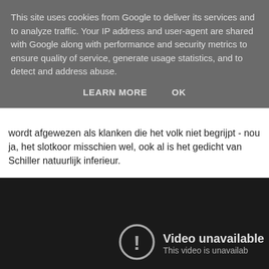This site uses cookies from Google to deliver its services and to analyze traffic. Your IP address and user-agent are shared with Google along with performance and security metrics to ensure quality of service, generate usage statistics, and to detect and address abuse.
LEARN MORE    OK
wordt afgewezen als klanken die het volk niet begrijpt - nou ja, het slotkoor misschien wel, ook al is het gedicht van Schiller natuurlijk inferieur.
[Figure (screenshot): A dark video player showing 'Video unavailable' message with an error icon (exclamation mark in a circle) and the text 'This video is unavailab...' below.]